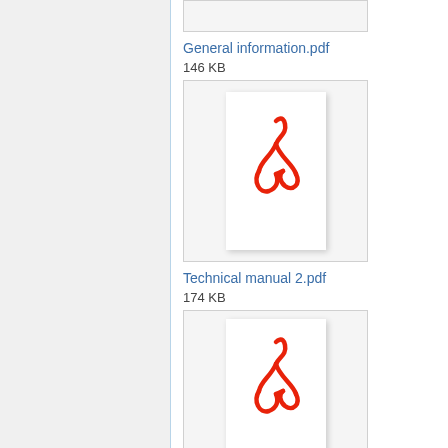[Figure (screenshot): Partial PDF thumbnail at top of page (cut off)]
General information.pdf
146 KB
[Figure (screenshot): PDF thumbnail with Adobe Acrobat logo icon on white background]
Technical manual 2.pdf
174 KB
[Figure (screenshot): PDF thumbnail with Adobe Acrobat logo icon on white background]
Differentiation2012ans